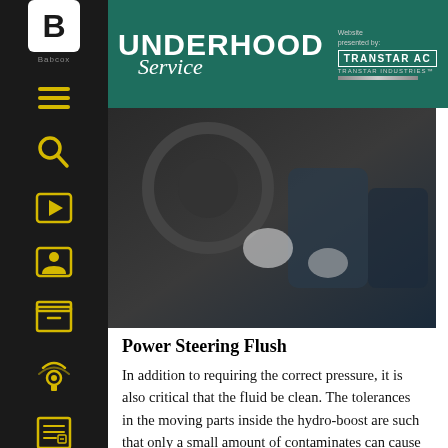[Figure (screenshot): Underhood Service website header with teal/green background, showing 'UNDERHOOD Service' logo, 'Website presented by: TRANSTAR AC TRANSTAR INDUSTRIES' branding on the right, and Babcox logo on the far left sidebar.]
[Figure (photo): Advertisement banner showing a mechanic working on a vehicle wheel/tire area with a salmon/pink rounded button reading 'Learn More Here!']
Power Steering Flush
In addition to requiring the correct pressure, it is also critical that the fluid be clean. The tolerances in the moving parts inside the hydro-boost are such that only a small amount of contaminates can cause a malfunction. This is especially true of the spool valve. The tolerances necessary to form a metal-to-metal seal are quite small and any contaminates or tarnish buildup can prevent smooth operation of the spool valve. Since the spool valve controls the flow of fluid into and out of the power chamber, it is critical it functions